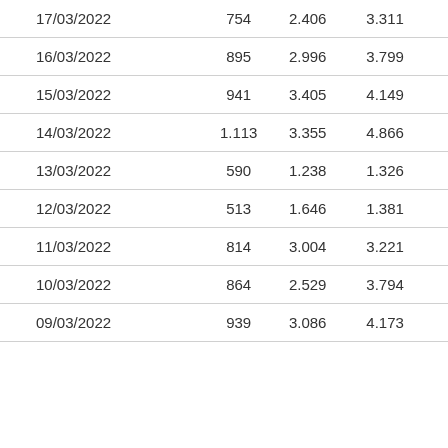| 17/03/2022 | 754 | 2.406 | 3.311 |
| 16/03/2022 | 895 | 2.996 | 3.799 |
| 15/03/2022 | 941 | 3.405 | 4.149 |
| 14/03/2022 | 1.113 | 3.355 | 4.866 |
| 13/03/2022 | 590 | 1.238 | 1.326 |
| 12/03/2022 | 513 | 1.646 | 1.381 |
| 11/03/2022 | 814 | 3.004 | 3.221 |
| 10/03/2022 | 864 | 2.529 | 3.794 |
| 09/03/2022 | 939 | 3.086 | 4.173 |